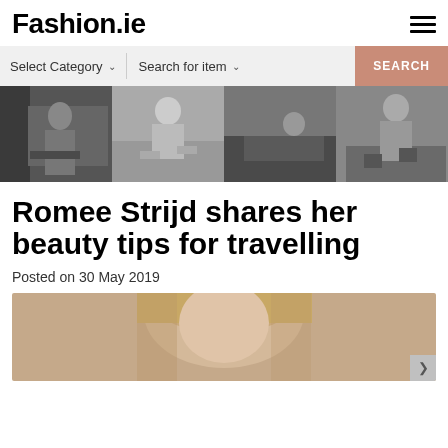Fashion.ie
[Figure (screenshot): Search bar with 'Select Category' dropdown, 'Search for item' dropdown, and a salmon-colored SEARCH button]
[Figure (photo): Horizontal strip of four black and white fashion photographs of female models in various poses]
Romee Strijd shares her beauty tips for travelling
Posted on 30 May 2019
[Figure (photo): Close-up photograph of a blonde woman's face, cropped at the bottom of the page]